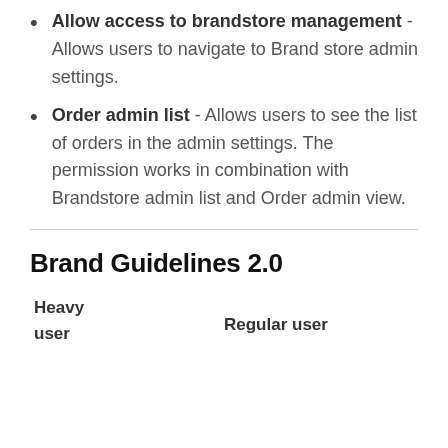Allow access to brandstore management - Allows users to navigate to Brand store admin settings.
Order admin list - Allows users to see the list of orders in the admin settings. The permission works in combination with Brandstore admin list and Order admin view.
Brand Guidelines 2.0
Heavy user    Regular user